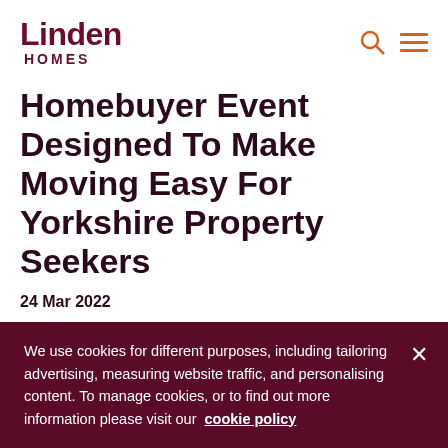Linden HOMES
Homebuyer Event Designed To Make Moving Easy For Yorkshire Property Seekers
24 Mar 2022
With Spring the season traditionally associated with moving house, developer Linden Homes is staging a special event to help
We use cookies for different purposes, including tailoring advertising, measuring website traffic, and personalising content. To manage cookies, or to find out more information please visit our cookie policy